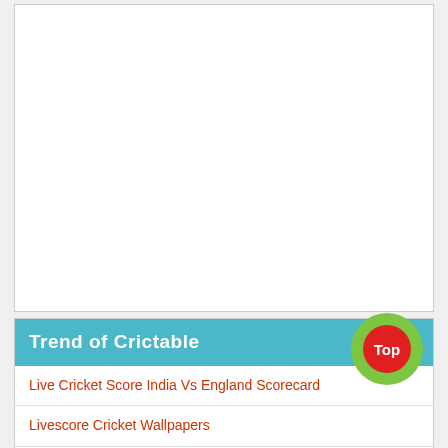[Figure (other): Large white blank rectangle area, likely an advertisement or image placeholder]
Trend of Crictable
Live Cricket Score India Vs England Scorecard
Livescore Cricket Wallpapers
Wcc World Cricket